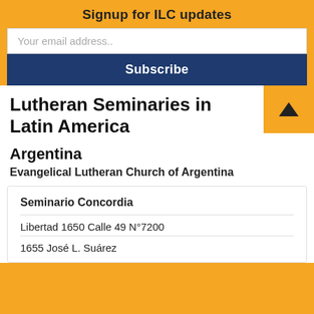Signup for ILC updates
Your email address..
Subscribe
Lutheran Seminaries in Latin America
Argentina
Evangelical Lutheran Church of Argentina
| Seminario Concordia |
| --- |
| Libertad 1650 Calle 49 N°7200 |
| 1655 José L. Suárez |
[Figure (other): Up arrow navigation button on gold background]